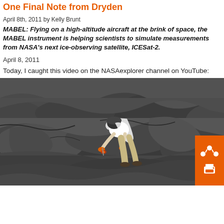One Final Note from Dryden
April 8th, 2011 by Kelly Brunt
MABEL: Flying on a high-altitude aircraft at the brink of space, the MABEL instrument is helping scientists to simulate measurements from NASA's next ice-observing satellite, ICESat-2.
April 8, 2011
Today, I caught this video on the NASAexplorer channel on YouTube:
[Figure (photo): Aerial or overhead view of a person in white shirt and khaki pants bent over dark volcanic lava rock, appearing to collect a sample, with orange gloves. The lava rock is dark grey and textured. An orange share/print button panel is visible in the bottom right corner.]